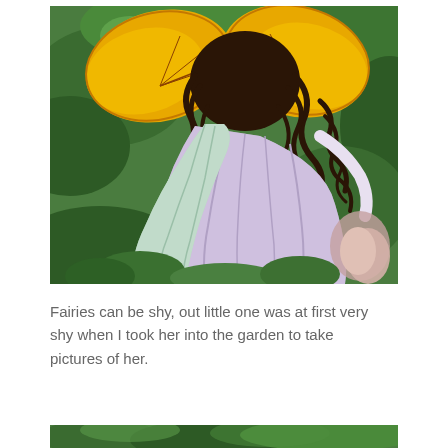[Figure (photo): A handmade fairy doll photographed from behind in a garden setting. The doll has dark curly hair, large yellow/golden butterfly wings, and wears a flowing lavender and mint green dress. Green foliage is visible in the background.]
Fairies can be shy, out little one was at first very shy when I took her into the garden to take pictures of her.
[Figure (photo): Partial bottom strip of another photo in the garden, showing green foliage.]